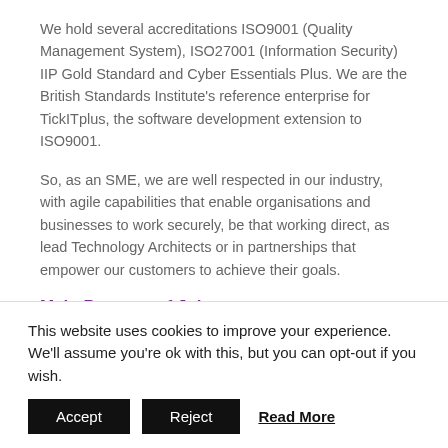We hold several accreditations ISO9001 (Quality Management System), ISO27001 (Information Security) IIP Gold Standard and Cyber Essentials Plus. We are the British Standards Institute's reference enterprise for TickITplus, the software development extension to ISO9001.
So, as an SME, we are well respected in our industry, with agile capabilities that enable organisations and businesses to work securely, be that working direct, as lead Technology Architects or in partnerships that empower our customers to achieve their goals.
Main Purpose of Job
This website uses cookies to improve your experience. We'll assume you're ok with this, but you can opt-out if you wish.
Accept   Reject   Read More